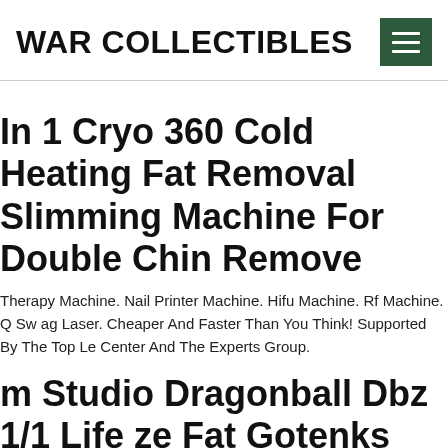WAR COLLECTIBLES
In 1 Cryo 360 Cold Heating Fat Removal Slimming Machine For Double Chin Remove
Therapy Machine. Nail Printer Machine. Hifu Machine. Rf Machine. Q Sw ag Laser. Cheaper And Faster Than You Think! Supported By The Top Le Center And The Experts Group.
m Studio Dragonball Dbz 1/1 Life ze Fat Gotenks Plan Resin Painte atue
Not Dismiss Your Dream. Demon Slayer Statue. One Piece Gk Statue. Na